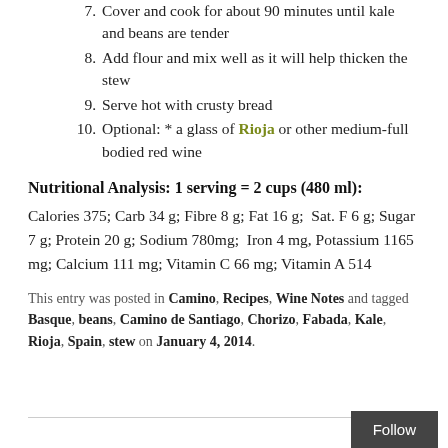7. Cover and cook for about 90 minutes until kale and beans are tender
8. Add flour and mix well as it will help thicken the stew
9. Serve hot with crusty bread
10. Optional: * a glass of Rioja or other medium-full bodied red wine
Nutritional Analysis: 1 serving = 2 cups (480 ml):
Calories 375; Carb 34 g; Fibre 8 g; Fat 16 g; Sat. F 6 g; Sugar 7 g; Protein 20 g; Sodium 780mg; Iron 4 mg, Potassium 1165 mg; Calcium 111 mg; Vitamin C 66 mg; Vitamin A 514
This entry was posted in Camino, Recipes, Wine Notes and tagged Basque, beans, Camino de Santiago, Chorizo, Fabada, Kale, Rioja, Spain, stew on January 4, 2014.